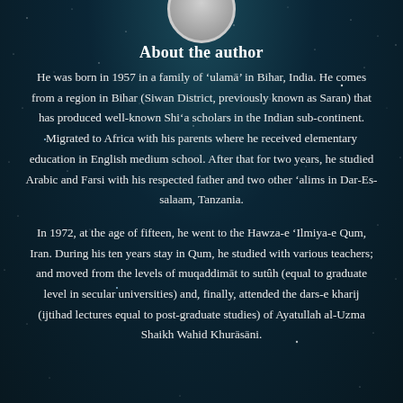About the author
He was born in 1957 in a family of ‘ulamā’ in Bihar, India. He comes from a region in Bihar (Siwan District, previously known as Saran) that has produced well-known Shi‘a scholars in the Indian sub-continent. Migrated to Africa with his parents where he received elementary education in English medium school. After that for two years, he studied Arabic and Farsi with his respected father and two other ‘alims in Dar-Es-salaam, Tanzania.
In 1972, at the age of fifteen, he went to the Hawza-e ‘Ilmiya-e Qum, Iran. During his ten years stay in Qum, he studied with various teachers; and moved from the levels of muqaddimāt to sutûh (equal to graduate level in secular universities) and, finally, attended the dars-e kharij (ijtihad lectures equal to post-graduate studies) of Ayatullah al-Uzma Shaikh Wahid Khurāsāni.